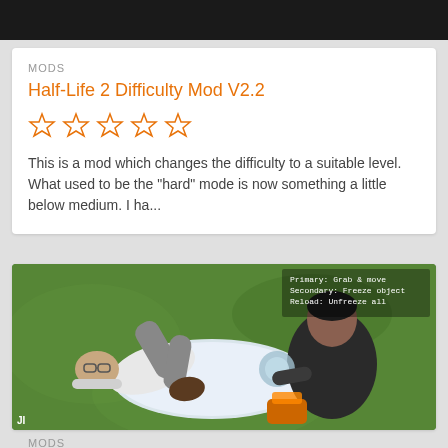[Figure (screenshot): Dark top image strip, partially cropped game screenshot]
MODS
Half-Life 2 Difficulty Mod V2.2
[Figure (other): 5 empty/outline star rating icons in orange]
This is a mod which changes the difficulty to a suitable level. What used to be the "hard" mode is now something a little below medium. I ha...
[Figure (screenshot): Game screenshot showing two characters on grass, one knocked down, one crouching with gravity gun. HUD text visible: Primary: Grab & move, Secondary: Freeze object, Reload: Unfreeze all]
MODS